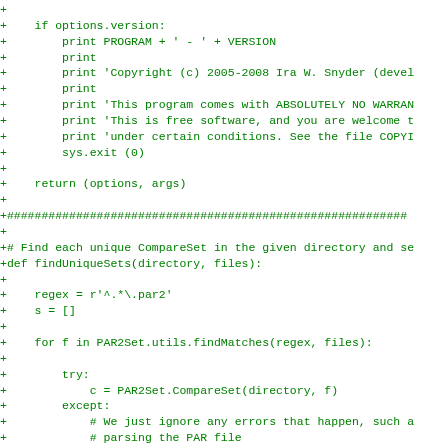Code diff showing Python source additions including version print block, findUniqueSets function definition, regex matching loop with try/except/else handling